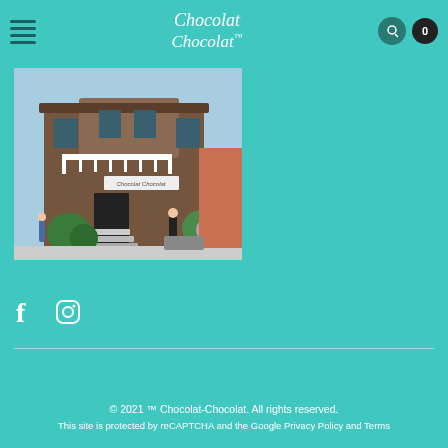Chocolat Chocolat
[Figure (photo): Exterior photo of a Chocolat-Chocolat store in a Victorian-style brick building with a white balcony, stairs, and green shrubs. A woman in black stands on the sidewalk.]
f (Facebook icon) and Instagram icon
© 2021 ™ Chocolat-Chocolat. All rights reserved. This site is protected by reCAPTCHA and the Google Privacy Policy and Terms